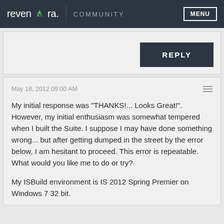revenera. COMMUNITY  MENU
REPLY
May 18, 2012 09:00 AM
My initial response was "THANKS!... Looks Great!". However, my initial enthusiasm was somewhat tempered when I built the Suite. I suppose I may have done something wrong... but after getting dumped in the street by the error below, I am hesitant to proceed. This error is repeatable. What would you like me to do or try?

My ISBuild environment is IS 2012 Spring Premier on Windows 7 32 bit.